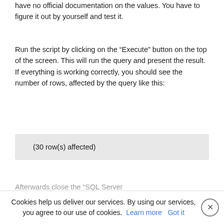have no official documentation on the values. You have to figure it out by yourself and test it.
Run the script by clicking on the “Execute” button on the top of the screen. This will run the query and present the result. If everything is working correctly, you should see the number of rows, affected by the query like this:
[Figure (screenshot): A light grey code output box showing the text: (30 row(s) affected)]
Afterwards close the “SQL Server Management Studio” and start iMC again. iMC will load the changes for the accounts from the database.
Cookies help us deliver our services. By using our services, you agree to our use of cookies. Learn more  Got it